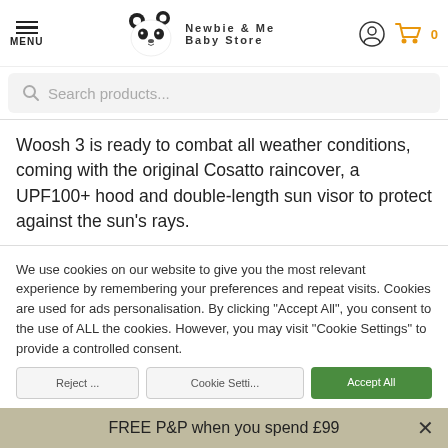MENU | Newbie & Me Baby Store | [account icon] [cart icon] 0
Search products...
Woosh 3 is ready to combat all weather conditions, coming with the original Cosatto raincover, a UPF100+ hood and double-length sun visor to protect against the sun's rays.
We use cookies on our website to give you the most relevant experience by remembering your preferences and repeat visits. Cookies are used for ads personalisation. By clicking "Accept All", you consent to the use of ALL the cookies. However, you may visit "Cookie Settings" to provide a controlled consent.
FREE P&P when you spend £99